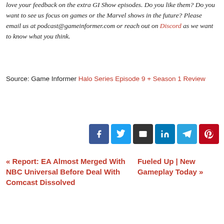love your feedback on the extra GI Show episodes. Do you like them? Do you want to see us focus on games or the Marvel shows in the future? Please email us at podcast@gameinformer.com or reach out on Discord as we want to know what you think.
Source: Game Informer Halo Series Episode 9 + Season 1 Review
[Figure (other): Social share buttons: Facebook, Twitter, Email, LinkedIn, Telegram, Pinterest]
« Report: EA Almost Merged With NBC Universal Before Deal With Comcast Dissolved
Fueled Up | New Gameplay Today »